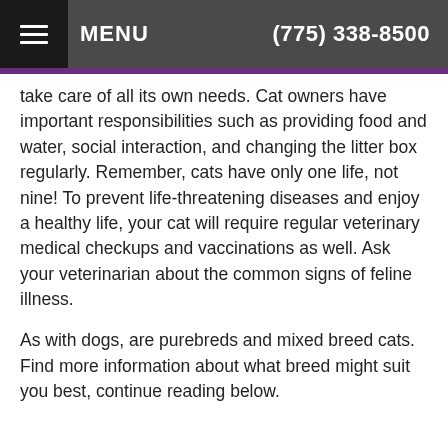MENU   (775) 338-8500
take care of all its own needs. Cat owners have important responsibilities such as providing food and water, social interaction, and changing the litter box regularly. Remember, cats have only one life, not nine! To prevent life-threatening diseases and enjoy a healthy life, your cat will require regular veterinary medical checkups and vaccinations as well. Ask your veterinarian about the common signs of feline illness.
As with dogs, are purebreds and mixed breed cats. Find more information about what breed might suit you best, continue reading below.
Breed Characteristics
Category: Choosing Your Pet, Cats
Each cat breed has ce… though